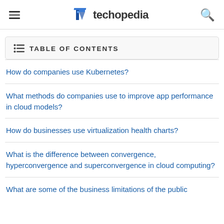techopedia
TABLE OF CONTENTS
How do companies use Kubernetes?
What methods do companies use to improve app performance in cloud models?
How do businesses use virtualization health charts?
What is the difference between convergence, hyperconvergence and superconvergence in cloud computing?
What are some of the business limitations of the public